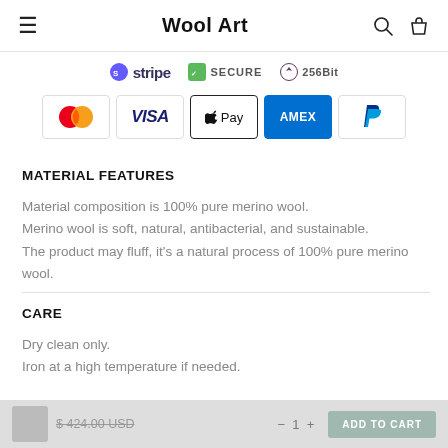Wool Art
[Figure (logo): Payment provider logos strip: Stripe, Secure badge, 256Bit badge, Mastercard, Visa, Apple Pay, AMEX, PayPal]
MATERIAL FEATURES
Material composition is 100% pure merino wool.
Merino wool is soft, natural, antibacterial, and sustainable.
The product may fluff, it's a natural process of 100% pure merino wool.
CARE
Dry clean only.
Iron at a high temperature if needed.
$ 424.00 USD   1   ADD TO CART